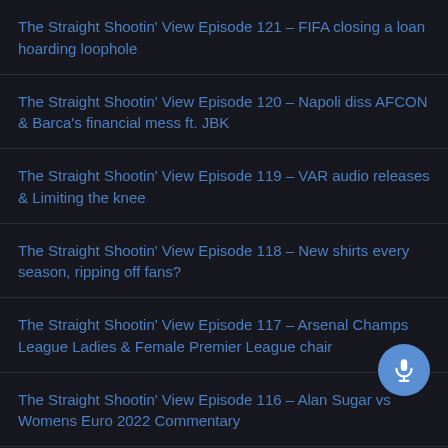The Straight Shootin' View Episode 121 – FIFA closing a loan hoarding loophole
The Straight Shootin' View Episode 120 – Napoli diss AFCON & Barca's financial mess ft. JBK
The Straight Shootin' View Episode 119 – VAR audio releases & Limiting the knee
The Straight Shootin' View Episode 118 – New shirts every season, ripping off fans?
The Straight Shootin' View Episode 117 – Arsenal Champs League Ladies & Female Premier League chair
The Straight Shootin' View Episode 116 – Alan Sugar vs Womens Euro 2022 Commentary
The Straight Shootin' View Episode 115 – Blatter & Platini's fraud & Corruption trial